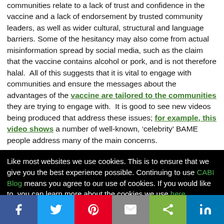communities relate to a lack of trust and confidence in the vaccine and a lack of endorsement by trusted community leaders, as well as wider cultural, structural and language barriers. Some of the hesitancy may also come from actual misinformation spread by social media, such as the claim that the vaccine contains alcohol or pork, and is not therefore halal. All of this suggests that it is vital to engage with communities and ensure the messages about the advantages of the vaccine are tailored to the communities they are trying to engage with. It is good to see new videos being produced that address these issues; for example, this video shows a number of well-known, 'celebrity' BAME people address many of the main concerns.
Like most websites we use cookies. This is to ensure that we give you the best experience possible. Continuing to use CABI Blog means you agree to our use of cookies. If you would like to, you can learn more about the cookies we use here.